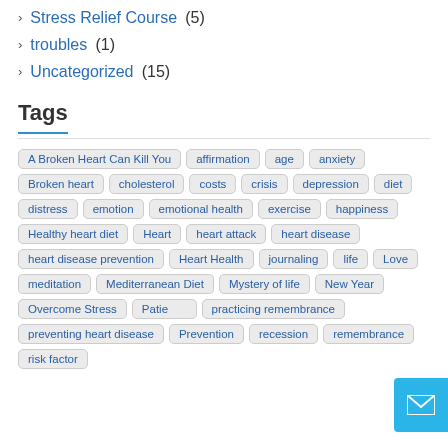Stress Relief Course (5)
troubles (1)
Uncategorized (15)
Tags
A Broken Heart Can Kill You, affirmation, age, anxiety, Broken heart, cholesterol, costs, crisis, depression, diet, distress, emotion, emotional health, exercise, happiness, Healthy heart diet, Heart, heart attack, heart disease, heart disease prevention, Heart Health, journaling, life, Love, meditation, Mediterranean Diet, Mystery of life, New Year, Overcome Stress, Patience, practicing remembrance, preventing heart disease, Prevention, recession, remembrance, risk factor